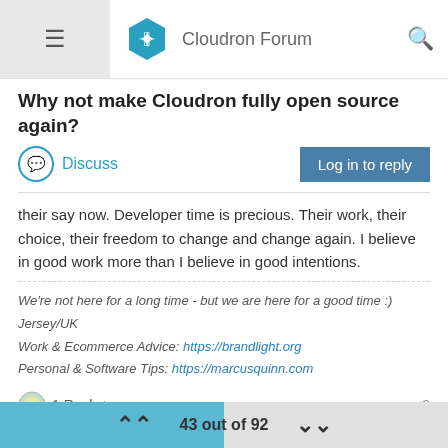Cloudron Forum
Why not make Cloudron fully open source again?
Discuss | Log in to reply
their say now. Developer time is precious. Their work, their choice, their freedom to change and change again. I believe in good work more than I believe in good intentions.
We're not here for a long time - but we are here for a good time :)
Jersey/UK
Work & Ecommerce Advice: https://brandlight.org
Personal & Software Tips: https://marcusquinn.com
1 Reply >   ^ -3
jdaviescoates    Oct 9, 2020, 9:05 AM
43 out of 92